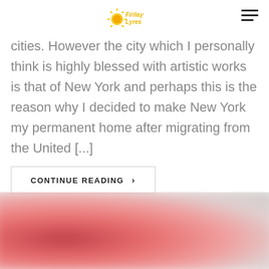Firilay Lyres (logo)
cities. However the city which I personally think is highly blessed with artistic works is that of New York and perhaps this is the reason why I decided to make New York my permanent home after migrating from the United [...]
CONTINUE READING >
[Figure (photo): Blurred red and pink abstract image, partially visible at bottom of page]